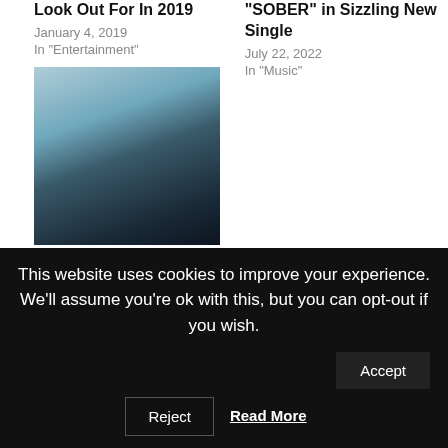Look Out For In 2019
January 4, 2019
In "Entertainment"
“SOBER” in Sizzling New Single
July 22, 2022
In "Music"
[Figure (photo): Person in dark clothing against a light blue background]
#IMMusicMonday: In Conversation With Teenear
August 3, 2020
In "Artist Interviews"
TAGS: BLACK CREATIVES , BLACK LIVES MATTER , BLACK WOMEN
This website uses cookies to improve your experience. We'll assume you're ok with this, but you can opt-out if you wish.
Accept
Reject
Read More